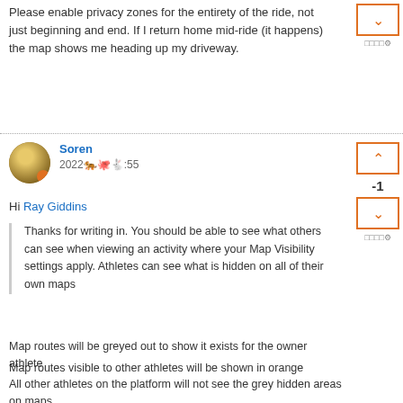Please enable privacy zones for the entirety of the ride, not just beginning and end. If I return home mid-ride (it happens) the map shows me heading up my driveway.
Soren
2022052507:55
Hi Ray Giddins
Thanks for writing in. You should be able to see what others can see when viewing an activity where your Map Visibility settings apply. Athletes can see what is hidden on all of their own maps
Map routes will be greyed out to show it exists for the owner athlete
Map routes visible to other athletes will be shown in orange
All other athletes on the platform will not see the grey hidden areas on maps
Once you hide a specific location in your Strava settings,